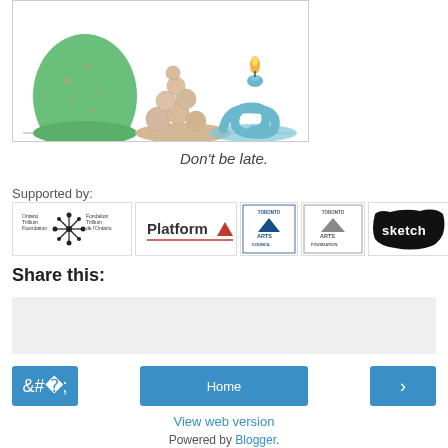[Figure (illustration): Illustration showing three piles: green mound, stone pile, and blue coiled snake with candle/flame on top, arranged in a row on a white background with border.]
Don't be late.
Supported by:
[Figure (logo): Ontario Trillium Foundation logo, Platform logo with red triangle, Toronto Arts Council logo, Toronto Arts Foundation logo, Sketch logo on black brushstroke background]
Share this:
Home
View web version
Powered by Blogger.